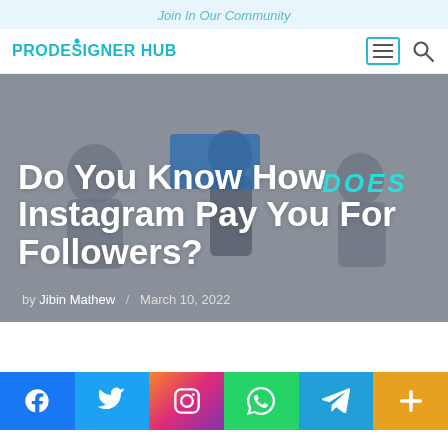Join In Our Community
[Figure (logo): PRODESIGNER HUB logo in teal/cyan color with navigation hamburger menu and search icon]
[Figure (photo): Hero banner with grey background showing silhouetted figures and 'DOES' text overlay]
Do You Know How Instagram Pay You For Followers?
by Jibin Mathew / March 10, 2022
[Figure (infographic): Social share bar with Facebook, Twitter, Instagram, WhatsApp, Telegram, and Plus buttons]